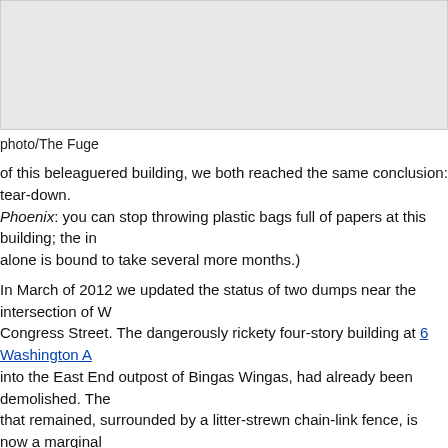[Figure (photo): Gray placeholder image box at top of page]
photo/The Fuge
of this beleaguered building, we both reached the same conclusion: tear-down. Phoenix: you can stop throwing plastic bags full of papers at this building; the in alone is bound to take several more months.)
In March of 2012 we updated the status of two dumps near the intersection of W Congress Street. The dangerously rickety four-story building at 6 Washington A into the East End outpost of Bingas Wingas, had already been demolished. The that remained, surrounded by a litter-strewn chain-link fence, is now a marginal parking area in front of a big mural depicting clammers and boats.
[Figure (photo): Gray placeholder image box at bottom of page with broken image icon]